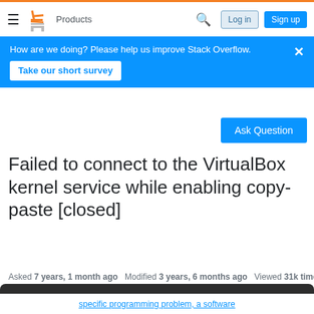Stack Overflow — hamburger menu, logo, Products, search, Log in, Sign up
How are we doing? Please help us improve Stack Overflow. × Take our short survey
Ask Question
Failed to connect to the VirtualBox kernel service while enabling copy-paste [closed]
Asked 7 years, 1 month ago  Modified 3 years, 6 months ago  Viewed 31k times
Your privacy
By clicking "Accept all cookies", you agree Stack Exchange can store cookies on your device and disclose information in accordance with our Cookie Policy.
Accept all cookies  Customize settings
specific programming problem, a software